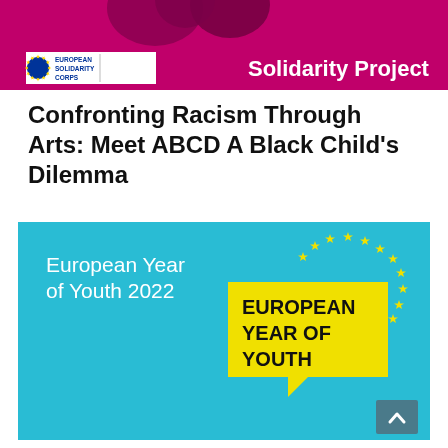[Figure (logo): European Solidarity Corps banner with logo and 'Solidarity Project' text on magenta background with decorative dark shapes]
Confronting Racism Through Arts: Meet ABCD A Black Child's Dilemma
[Figure (infographic): European Year of Youth 2022 banner with teal background showing 'EUROPEAN YEAR OF YOUTH' text on yellow speech bubble shape with EU stars arc]